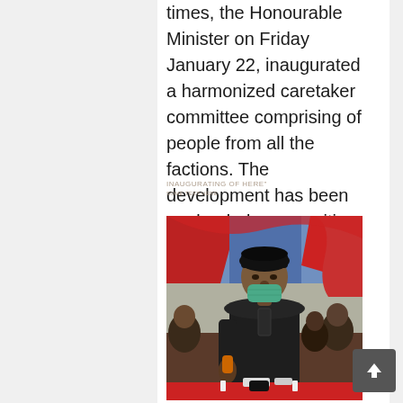times, the Honourable Minister on Friday January 22, inaugurated a harmonized caretaker committee comprising of people from all the factions. The development has been applauded as a positive development and a step in the right direction.
[Figure (photo): A man wearing a black cap, dark traditional attire, and a teal face mask stands at an event venue decorated with red and blue fabric drapes. People are visible in the background. A red-covered table is visible in the foreground.]